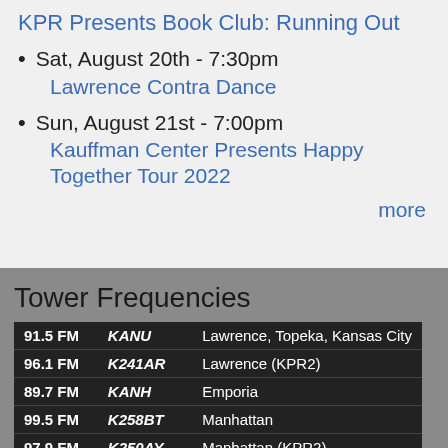KPR Presents Book Club: Running Out
Sat, August 20th - 7:30pm
Lawrence Contra Dance
Sun, August 21st - 7:00pm
Kauffman Center Presents Happy Together Tour 2022
more
Tower Frequencies
| Frequency | Call Sign | Location |
| --- | --- | --- |
| 91.5 FM | KANU | Lawrence, Topeka, Kansas City |
| 96.1 FM | K241AR | Lawrence (KPR2) |
| 89.7 FM | KANH | Emporia |
| 99.5 FM | K258BT | Manhattan |
| 97.9 FM | K250AY | Manhattan (KPR2) |
| 91.3 FM | KANV | Junction City, Olsburg |